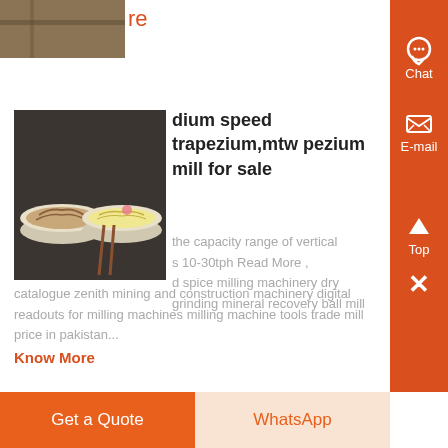re
[Figure (photo): Partial photo visible at top of page, appears to be an outdoor scene]
dium speed trapezium,mtw pezium mill for sale
[Figure (photo): Photo of two bowls of noodles/food with chopsticks on a dark surface]
the capacity range of vertical s 10-30tph Read More , d spice milling machinery dry grinding mineral recovery ball mill catalogue zenith mining and construction machinery digital readouts for milling machines milling machine tools trade mill price in pakistan...
Know More
Chat
E-mail
Top
Get a Quote
WhatsApp